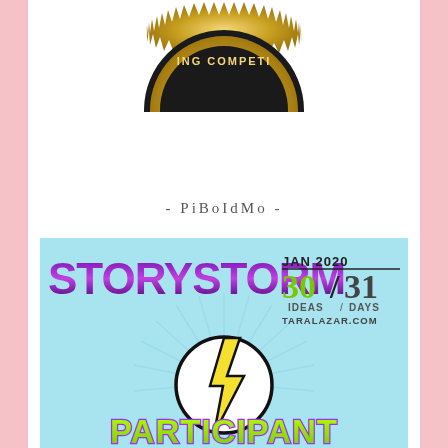[Figure (illustration): Gold seal/badge with text 'ING COMPETI' visible at top, black and gold starburst border design — partially cropped writing competition badge]
- PiBoIdMo -
[Figure (illustration): Storystorm January 2020 participant badge — light blue background with purple/violet graffiti-style text 'STORYSTORM', 'JAN 2020', '30/31 IDEAS / DAYS', 'TARALAZAR.COM', lightning bolt in circle graphic, and large green/purple outlined text 'PARTICIPANT']